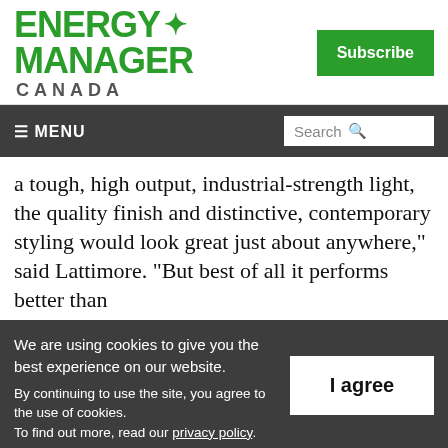[Figure (logo): Energy Manager Canada logo with maple leaf in green, and Subscribe button in green on the right]
≡ MENU   Search 🔍
a tough, high output, industrial-strength light, the quality finish and distinctive, contemporary styling would look great just about anywhere," said Lattimore. "But best of all it performs better than
We are using cookies to give you the best experience on our website.
By continuing to use the site, you agree to the use of cookies.
To find out more, read our privacy policy.